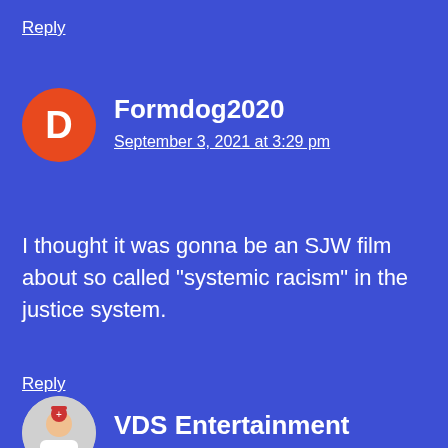Reply
Formdog2020
September 3, 2021 at 3:29 pm
I thought it was gonna be an SJW film about so called "systemic racism" in the justice system.
Reply
VDS Entertainment